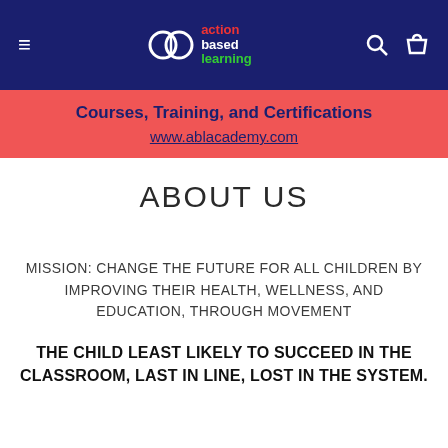action based learning | Courses, Training, and Certifications | www.ablacademy.com
ABOUT US
MISSION: CHANGE THE FUTURE FOR ALL CHILDREN BY IMPROVING THEIR HEALTH, WELLNESS, AND EDUCATION, THROUGH MOVEMENT
THE CHILD LEAST LIKELY TO SUCCEED IN THE CLASSROOM, LAST IN LINE, LOST IN THE SYSTEM.